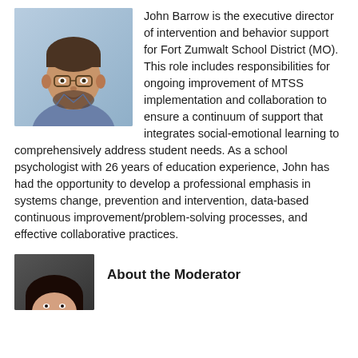[Figure (photo): Headshot photo of John Barrow, a man with glasses and a beard, wearing a gray shirt, smiling, against a light blue background.]
John Barrow is the executive director of intervention and behavior support for Fort Zumwalt School District (MO). This role includes responsibilities for ongoing improvement of MTSS implementation and collaboration to ensure a continuum of support that integrates social-emotional learning to comprehensively address student needs. As a school psychologist with 26 years of education experience, John has had the opportunity to develop a professional emphasis in systems change, prevention and intervention, data-based continuous improvement/problem-solving processes, and effective collaborative practices.
[Figure (photo): Partial headshot photo of a woman, cropped at the bottom of the page.]
About the Moderator